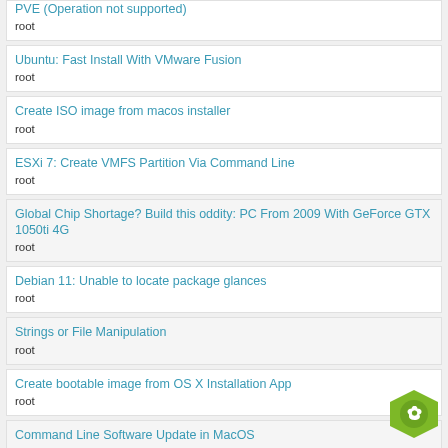PVE (Operation not supported)
root
Ubuntu: Fast Install With VMware Fusion
root
Create ISO image from macos installer
root
ESXi 7: Create VMFS Partition Via Command Line
root
Global Chip Shortage? Build this oddity: PC From 2009 With GeForce GTX 1050ti 4G
root
Debian 11: Unable to locate package glances
root
Strings or File Manipulation
root
Create bootable image from OS X Installation App
root
Command Line Software Update in MacOS
root
Macports: Current platform "darwin 21" does not match expected platform "darwin 20"